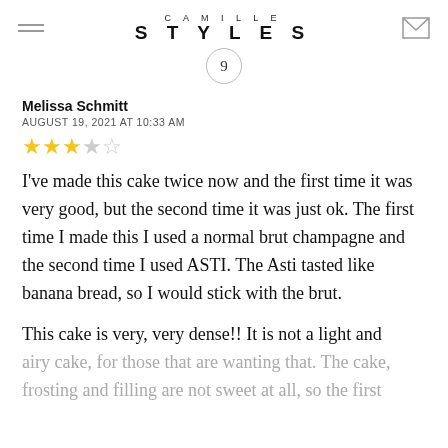CAMILLE STYLES
9
Melissa Schmitt
AUGUST 19, 2021 AT 10:33 AM
★★★☆☆ (3 out of 5 stars)
I've made this cake twice now and the first time it was very good, but the second time it was just ok. The first time I made this I used a normal brut champagne and the second time I used ASTI. The Asti tasted like banana bread, so I would stick with the brut.
This cake is very, very dense!! It is not a light and airy cake, for those that are wanting that. The cake, frosting and filling are not sweet at all, so the first